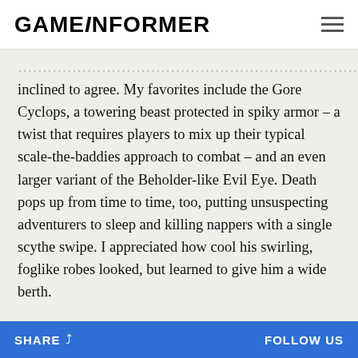GAMEINFORMER
inclined to agree. My favorites include the Gore Cyclops, a towering beast protected in spiky armor – a twist that requires players to mix up their typical scale-the-baddies approach to combat – and an even larger variant of the Beholder-like Evil Eye. Death pops up from time to time, too, putting unsuspecting adventurers to sleep and killing nappers with a single scythe swipe. I appreciated how cool his swirling, foglike robes looked, but learned to give him a wide berth.
Dragon's Dogma took its share of lumps for the way it
SHARE   FOLLOW US